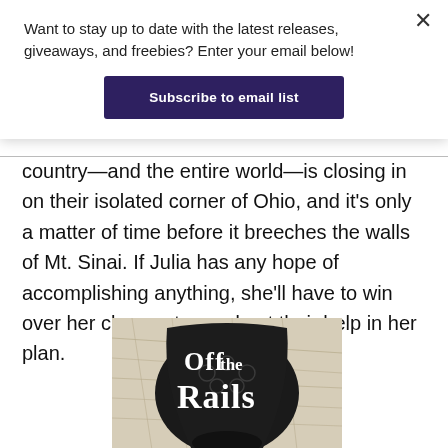Want to stay up to date with the latest releases, giveaways, and freebies? Enter your email below!
Subscribe to email list
country—and the entire world—is closing in on their isolated corner of Ohio, and it's only a matter of time before it breeches the walls of Mt. Sinai. If Julia has any hope of accomplishing anything, she'll have to win over her classmates and get their help in her plan.
[Figure (illustration): Book cover showing 'Off the Rails' title text over a dark illustrated background with a map texture]